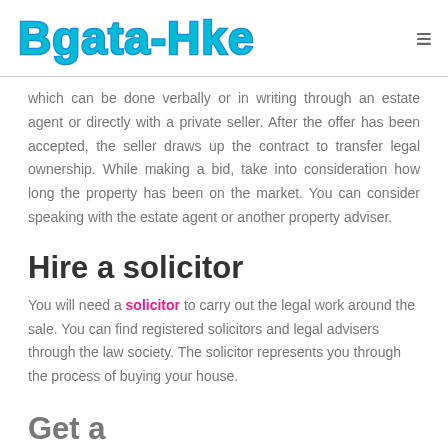Bgata-Hkei
which can be done verbally or in writing through an estate agent or directly with a private seller. After the offer has been accepted, the seller draws up the contract to transfer legal ownership. While making a bid, take into consideration how long the property has been on the market. You can consider speaking with the estate agent or another property adviser.
Hire a solicitor
You will need a solicitor to carry out the legal work around the sale. You can find registered solicitors and legal advisers through the law society. The solicitor represents you through the process of buying your house.
Get a